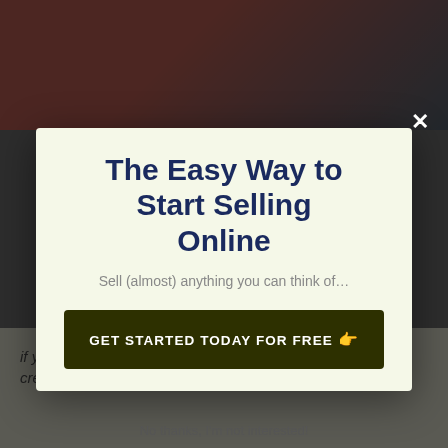[Figure (screenshot): Dimmed background showing a webpage with a photo at the top and italic body text at the bottom, partially visible behind a modal popup overlay. The background text reads: 'if you desire, include upsells, pick integrations, create split tests, and also']
The Easy Way to Start Selling Online
Sell (almost) anything you can think of…
GET STARTED TODAY FOR FREE 👉
No thanks, I'm not interested!